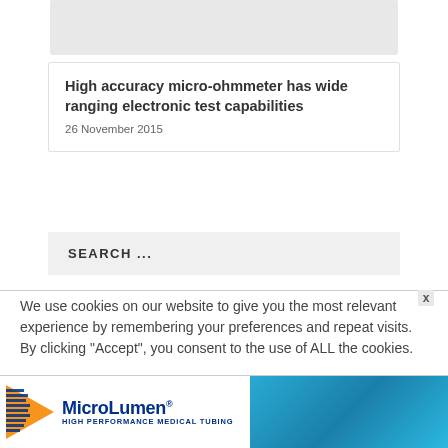[Figure (other): Gray placeholder image at top of page]
High accuracy micro-ohmmeter has wide ranging electronic test capabilities
26 November 2015
SEARCH ...
We use cookies on our website to give you the most relevant experience by remembering your preferences and repeat visits. By clicking “Accept”, you consent to the use of ALL the cookies.
[Figure (logo): MicroLumen HIGH PERFORMANCE MEDICAL TUBING advertisement banner with blue background image]